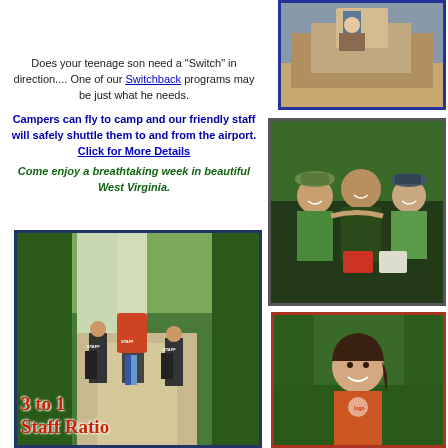[Figure (photo): Photo at top right: child or person visible in a wooden cabin/window area]
Does your teenage son need a "Switch" in direction.... One of our Switchback programs may be just what he needs.
Campers can fly to camp and our friendly staff will safely shuttle them to and from the airport. Click for More Details
Come enjoy a breathtaking week in beautiful West Virginia.
[Figure (photo): Photo of hikers/staff walking on a forest trail with backpacks, labeled '3 to 1 Staff Ratio']
[Figure (photo): Photo of three boys smiling at camp, wearing green shirts and caps]
[Figure (photo): Photo of a smiling girl in an orange t-shirt outdoors]